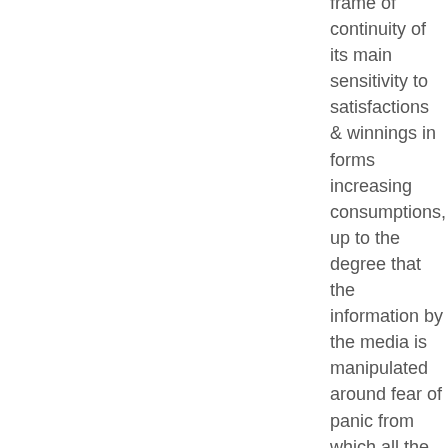frame of continuity of its main sensitivity to satisfactions & winnings in forms increasing consumptions, up to the degree that the information by the media is manipulated around fear of panic from which all the system might collapse and doing that for years despite the necessity of the